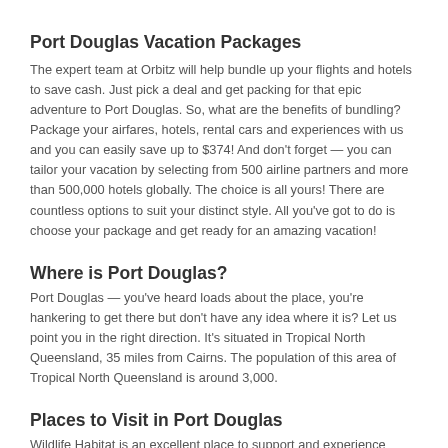Port Douglas Vacation Packages
The expert team at Orbitz will help bundle up your flights and hotels to save cash. Just pick a deal and get packing for that epic adventure to Port Douglas. So, what are the benefits of bundling? Package your airfares, hotels, rental cars and experiences with us and you can easily save up to $374! And don't forget — you can tailor your vacation by selecting from 500 airline partners and more than 500,000 hotels globally. The choice is all yours! There are countless options to suit your distinct style. All you've got to do is choose your package and get ready for an amazing vacation!
Where is Port Douglas?
Port Douglas — you've heard loads about the place, you're hankering to get there but don't have any idea where it is? Let us point you in the right direction. It's situated in Tropical North Queensland, 35 miles from Cairns. The population of this area of Tropical North Queensland is around 3,000.
Places to Visit in Port Douglas
Wildlife Habitat is an excellent place to support and experience